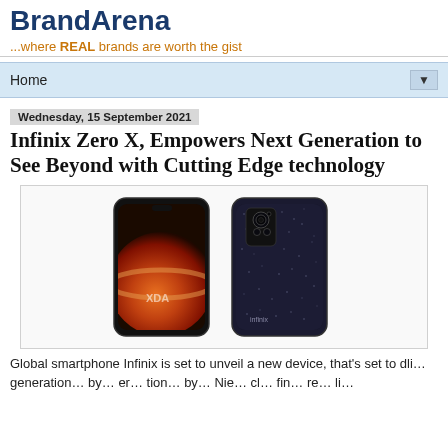BrandArena
...where REAL brands are worth the gist
Home
Wednesday, 15 September 2021
Infinix Zero X, Empowers Next Generation to See Beyond with Cutting Edge technology
[Figure (photo): Two Infinix Zero X smartphones shown front and back. The front shows a planet/moon image on the display. The back shows the dark textured finish with camera module. XDA watermark visible.]
Global smartphone Infinix is set to unveil a new device, that’s set to dli… generation… by… er… tion… by… Nie… cl… fin… re… li…